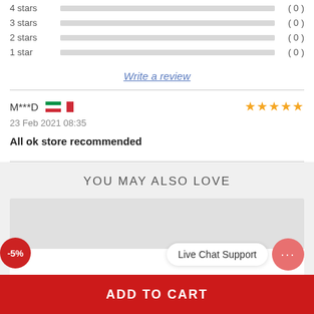4 stars (0)
3 stars (0)
2 stars (0)
1 star (0)
Write a review
M***D   23 Feb 2021 08:35   All ok store recommended   ★★★★★
YOU MAY ALSO LOVE
[Figure (other): Product card with -5% discount badge]
Live Chat Support
ADD TO CART